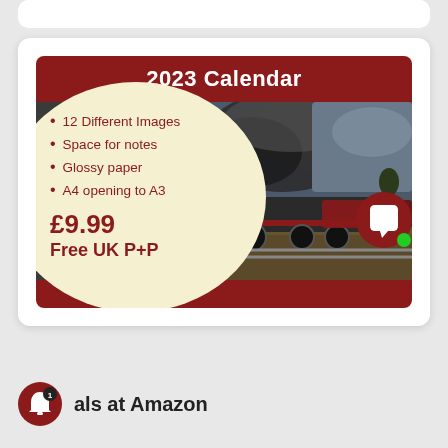[Figure (infographic): 2023 Calendar advertisement with dark red header, cream oval with bullet points listing features, steam train photo on right, price £9.99 and Free UK P+P text, dark red footer bar, and a chat bubble icon overlay.]
2023 Calendar
12 Different Images
Space for notes
Glossy paper
A4 opening to A3
£9.99
Free UK P+P
als at Amazon